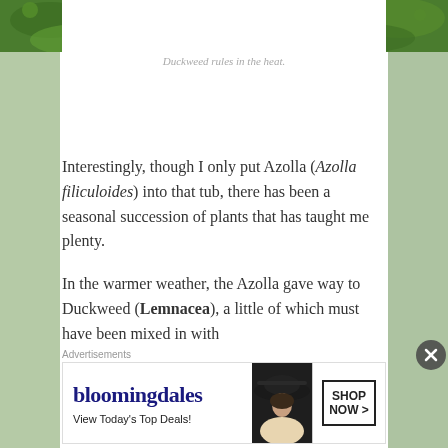[Figure (photo): Green plants/moss/duckweed viewed from above, filling top of the page]
Duckweed rules in the heat.
Interestingly, though I only put Azolla (Azolla filiculoides) into that tub, there has been a seasonal succession of plants that has taught me plenty.
In the warmer weather, the Azolla gave way to Duckweed (Lemnacea), a little of which must have been mixed in with it...
Advertisements
[Figure (screenshot): Bloomingdale's advertisement banner: logo, 'View Today's Top Deals!', woman in hat, SHOP NOW button]